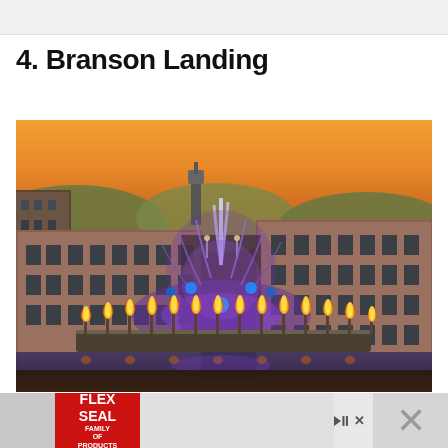4. Branson Landing
[Figure (photo): Aerial/elevated view of Branson Landing at dusk/evening showing illuminated water fountains with purple lighting in the center, fire torches arranged in a semicircle along the waterfront, brick commercial buildings on both sides, and a warm orange sunset sky with a tower visible in the background.]
[Figure (other): Flex Seal Family of Products advertisement banner at the bottom of the page with red logo on left, play/close controls, and an X close button on the right.]